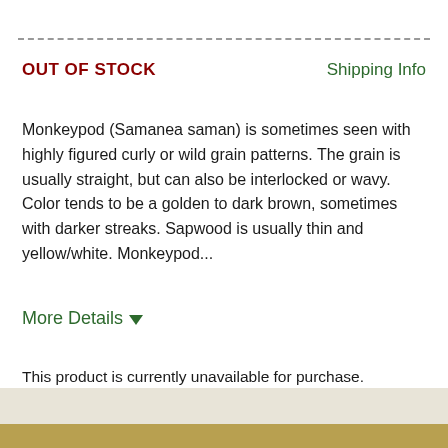OUT OF STOCK
Shipping Info
Monkeypod (Samanea saman) is sometimes seen with highly figured curly or wild grain patterns. The grain is usually straight, but can also be interlocked or wavy. Color tends to be a golden to dark brown, sometimes with darker streaks. Sapwood is usually thin and yellow/white. Monkeypod...
More Details
This product is currently unavailable for purchase.
Share